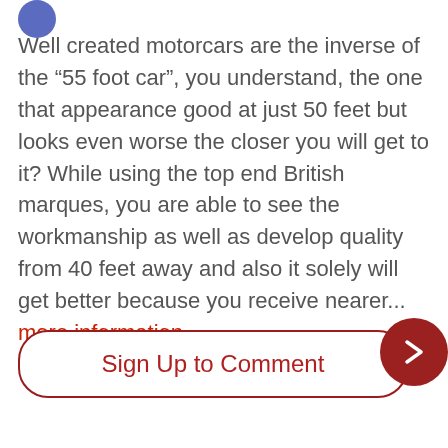[Figure (illustration): Partial blue circular avatar/icon at top left]
Well created motorcars are the inverse of the “55 foot car”, you understand, the one that appearance good at just 50 feet but looks even worse the closer you will get to it? While using the top end British marques, you are able to see the workmanship as well as develop quality from 40 feet away and also it solely will get better because you receive nearer... more information
Sign Up to Comment